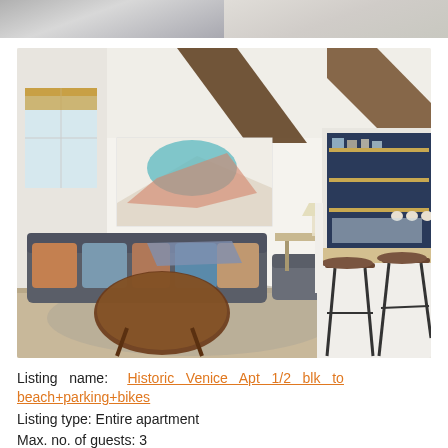[Figure (photo): Top strip photo showing partial view of bedding/fabric on left and light textured surface on right]
[Figure (photo): Interior photo of a bright apartment living room with grey sofa, colorful cushions, round coffee table, artwork on wall, and open kitchen with bar stools and dark blue shelving in background]
Listing name: Historic Venice Apt 1/2 blk to beach+parking+bikes
Listing type: Entire apartment
Max. no. of guests: 3
No. of bedrooms: 1